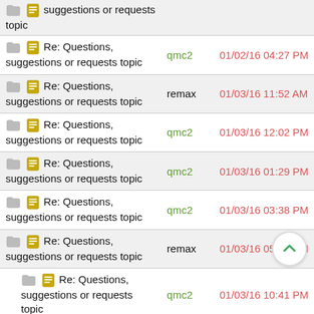| Topic | Author | Date |
| --- | --- | --- |
| Re: Questions, suggestions or requests topic |  |  |
| Re: Questions, suggestions or requests topic | qmc2 | 01/02/16 04:27 PM |
| Re: Questions, suggestions or requests topic | remax | 01/03/16 11:52 AM |
| Re: Questions, suggestions or requests topic | qmc2 | 01/03/16 12:02 PM |
| Re: Questions, suggestions or requests topic | qmc2 | 01/03/16 01:29 PM |
| Re: Questions, suggestions or requests topic | qmc2 | 01/03/16 03:38 PM |
| Re: Questions, suggestions or requests topic | remax | 01/03/16 05:51 PM |
| Re: Questions, suggestions or requests topic | qmc2 | 01/03/16 10:41 PM |
| Re: Questions, suggestions or requests topic | remax | 01/04/16 01:06 PM |
| Re: Questions, | oddi | 01/05/16 03:57 PM |